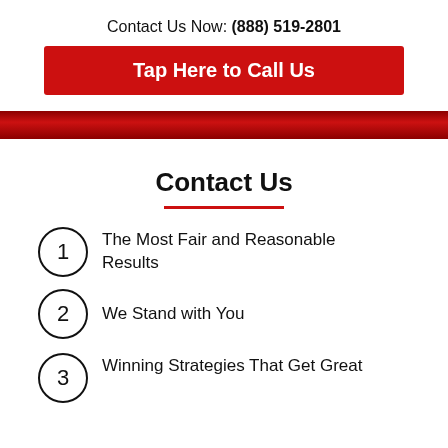Contact Us Now: (888) 519-2801
Tap Here to Call Us
Contact Us
The Most Fair and Reasonable Results
We Stand with You
Winning Strategies That Get Great